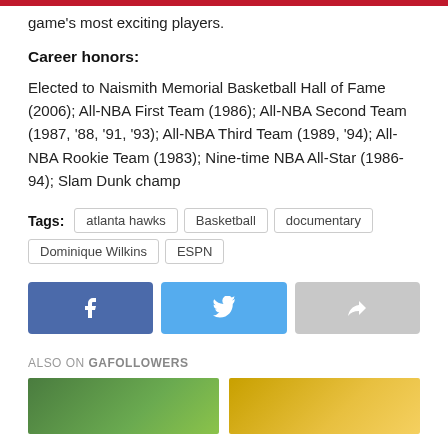game's most exciting players.
Career honors:
Elected to Naismith Memorial Basketball Hall of Fame (2006); All-NBA First Team (1986); All-NBA Second Team (1987, '88, '91, '93); All-NBA Third Team (1989, '94); All-NBA Rookie Team (1983); Nine-time NBA All-Star (1986-94); Slam Dunk champ
Tags: atlanta hawks  Basketball  documentary  Dominique Wilkins  ESPN
[Figure (infographic): Social share buttons: Facebook (blue), Twitter (light blue), Share (gray)]
ALSO ON GAFOLLOWERS
[Figure (photo): Two thumbnail images side by side at the bottom of the page]